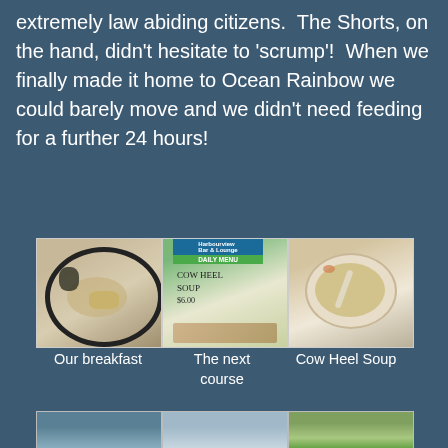extremely law abiding citizens.  The Shorts, on the hand, didn't hesitate to 'scrump'!  When we finally made it home to Ocean Rainbow we could barely move and we didn't need feeding for a further 24 hours!
[Figure (photo): Three photos side by side: a plate with food (breakfast), a daily menu sign reading Cow Heel Soup, and a bowl of soup]
Our breakfast     The next course     Cow Heel Soup
[Figure (photo): Three more photos partially visible at the bottom of the page]